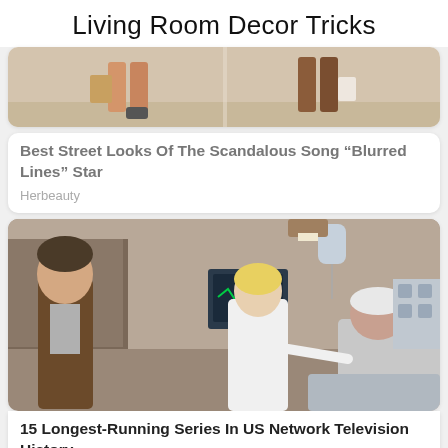Living Room Decor Tricks
[Figure (photo): Street fashion photo showing legs of people walking with shopping bags]
Best Street Looks Of The Scandalous Song “Blurred Lines” Star
Herbeauty
[Figure (photo): Hospital scene from a TV show with a young man, a doctor in a white coat, and a patient in bed with medical equipment]
15 Longest-Running Series In US Network Television History
Brainberries
✕ CLOSE